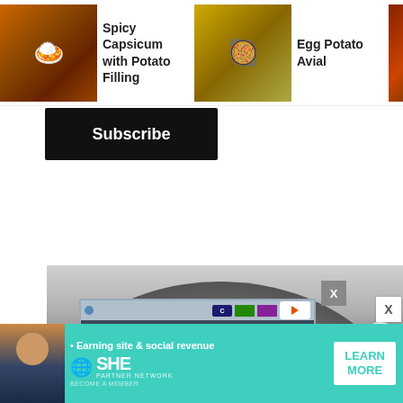[Figure (screenshot): Top navigation bar with three recipe thumbnails: 'Spicy Capsicum with Potato Filling', 'Egg Potato Avial', and 'Carrot & Potato Por... Recipe' with food photos]
Spicy Capsicum with Potato Filling
Egg Potato Avial
Carrot & Potato Por... Recipe
Subscribe
[Figure (photo): Main cooking image showing a large metal pan/wok on a stove with dark spices or seeds, with an embedded video advertisement overlay showing a hotel booking ad 'Whatever your reason, it's time to BOOK IT >' with Comfort Inn hotel image and a video of a person sleeping with a fishbowl. Right side has circular UI buttons including up arrow, heart, and search/magnifier. Number 141 appears in red.]
[Figure (screenshot): Bottom banner advertisement for SHE Partner Network with text '• Earning site & social revenue' and a 'LEARN MORE' button on teal/turquoise background]